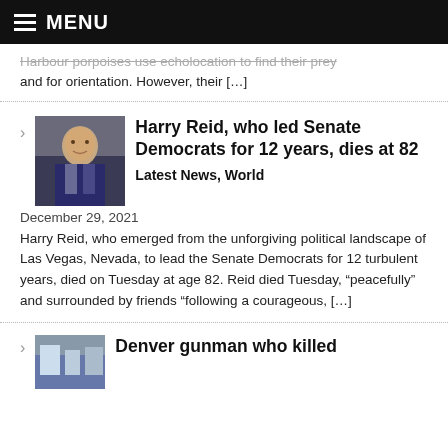MENU
Harbour porpoises use echolocation to find their prey and for orientation. However, their [...]
Harry Reid, who led Senate Democrats for 12 years, dies at 82
Latest News, World
December 29, 2021
Harry Reid, who emerged from the unforgiving political landscape of Las Vegas, Nevada, to lead the Senate Democrats for 12 turbulent years, died on Tuesday at age 82. Reid died Tuesday, “peacefully” and surrounded by friends “following a courageous, [...]
Denver gunman who killed